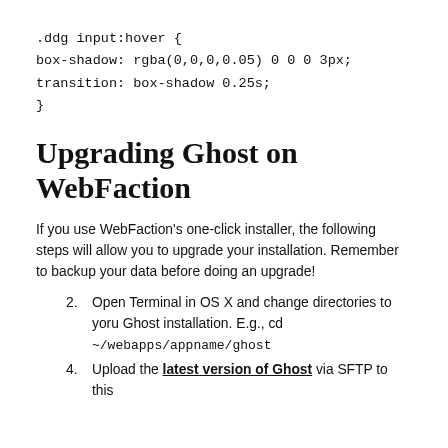.ddg input:hover {
box-shadow: rgba(0,0,0,0.05) 0 0 0 3px;
transition: box-shadow 0.25s;
}
Upgrading Ghost on WebFaction
If you use WebFaction's one-click installer, the following steps will allow you to upgrade your installation. Remember to backup your data before doing an upgrade!
Open Terminal in OS X and change directories to yoru Ghost installation. E.g., cd ~/webapps/appname/ghost
Upload the latest version of Ghost via SFTP to this